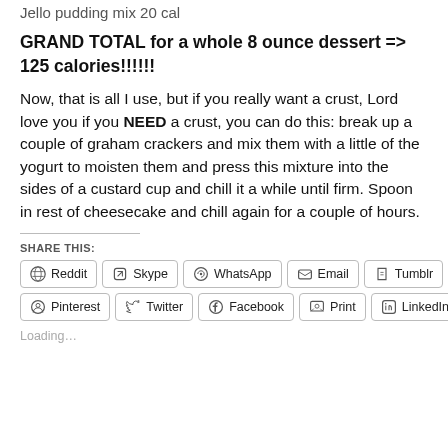Jello pudding mix 20 cal
GRAND TOTAL for a whole 8 ounce dessert => 125 calories!!!!!!
Now, that is all I use, but if you really want a crust, Lord love you if you NEED a crust, you can do this: break up a couple of graham crackers and mix them with a little of the yogurt to moisten them and press this mixture into the sides of a custard cup and chill it a while until firm. Spoon in rest of cheesecake and chill again for a couple of hours.
SHARE THIS:
Reddit  Skype  WhatsApp  Email  Tumblr  Pinterest  Twitter  Facebook  Print  LinkedIn
Loading...